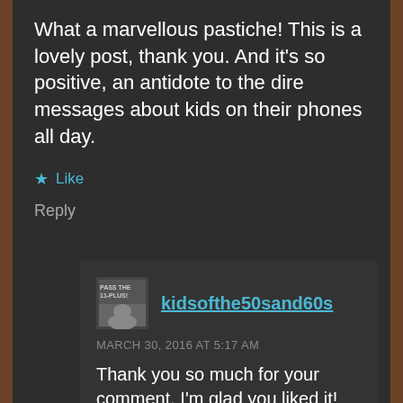What a marvellous pastiche! This is a lovely post, thank you. And it's so positive, an antidote to the dire messages about kids on their phones all day.
Like
Reply
kidsofthe50sand60s
MARCH 30, 2016 AT 5:17 AM
Thank you so much for your comment, I'm glad you liked it! Meryl
Like
Reply